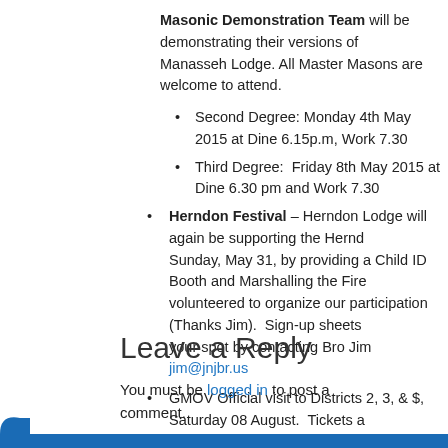Masonic Demonstration Team will be demonstrating their versions of Manasseh Lodge.  All Master Masons are welcome to attend.
Second Degree: Monday 4th May 2015 at Dine 6.15p.m, Work 7.30
Third Degree:  Friday 8th May 2015 at Dine 6.30 pm and Work 7.30
Herndon Festival – Herndon Lodge will again be supporting the Herndon Sunday, May 31, by providing a Child ID Booth and Marshalling the Fire volunteered to organize our participation (Thanks Jim).  Sign-up sheets your spot by contacting Bro Jim jim@jnjbr.us
GMOV Official visit to Districts 2, 3, & $, Saturday 08 August.  Tickets a
Leave a Reply
You must be logged in to post a comment.